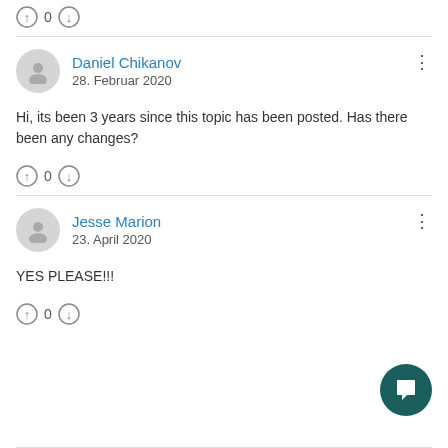0
Daniel Chikanov
28. Februar 2020
Hi, its been 3 years since this topic has been posted. Has there been any changes?
0
Jesse Marion
23. April 2020
YES PLEASE!!!
0